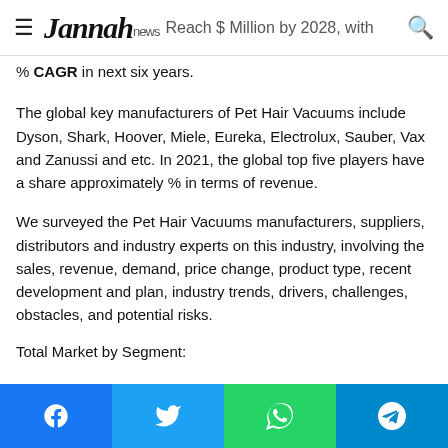Jannah news — Reach $ Million by 2028, with % CAGR in next six years.
% CAGR in next six years.
The global key manufacturers of Pet Hair Vacuums include Dyson, Shark, Hoover, Miele, Eureka, Electrolux, Sauber, Vax and Zanussi and etc. In 2021, the global top five players have a share approximately % in terms of revenue.
We surveyed the Pet Hair Vacuums manufacturers, suppliers, distributors and industry experts on this industry, involving the sales, revenue, demand, price change, product type, recent development and plan, industry trends, drivers, challenges, obstacles, and potential risks.
Total Market by Segment:
Facebook Twitter WhatsApp Telegram